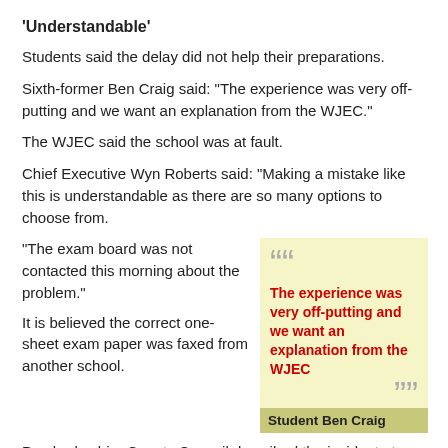'Understandable'
Students said the delay did not help their preparations.
Sixth-former Ben Craig said: "The experience was very off-putting and we want an explanation from the WJEC."
The WJEC said the school was at fault.
Chief Executive Wyn Roberts said: "Making a mistake like this is understandable as there are so many options to choose from.
"The exam board was not contacted this morning about the problem."
It is believed the correct one-sheet exam paper was faxed from another school.
[Figure (other): Pull quote box with yellow background: 'The experience was very off-putting and we want an explanation from the WJEC' — Student Ben Craig]
Pembrokeshire County Council described the incident at Greenhill as "an administrative clerical error" which resulted in the school being sent an examination paper for the wrong syllabus.
A spokesman said: "The error was discovered before the examination commenced and the correct exam